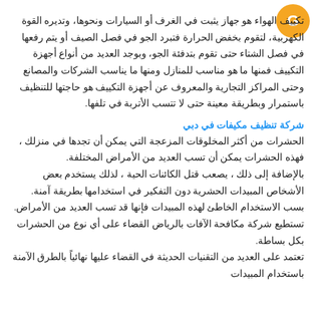[Figure (logo): Orange circle logo with white letter G or similar icon, top right corner]
تكييف الهواء هو جهاز يثبت في الغرف أو السيارات ونحوها، وتديره القوة الكهربية، لتقوم بخفض الحرارة فتبرد الجو في فصل الصيف أو يتم رفعها في فصل الشتاء حتى تقوم بتدفئة الجو، وبوجد العديد من أنواع أجهزة التكييف فمنها ما هو مناسب للمنازل ومنها ما يناسب الشركات والمصانع وحتى المراكز التجارية والمعروف عن أجهزة التكييف هو حاجتها للتنظيف باستمرار وبطريقة معينة حتى لا تتسب الأتربة في تلفها.
شركة تنظيف مكيفات في دبي
الحشرات من أكثر المخلوقات المزعجة التي يمكن أن تجدها في منزلك ، فهذه الحشرات يمكن أن تسب العديد من الأمراض المختلفة.
بالإضافة إلى ذلك ، يصعب قتل الكائنات الحية ، لذلك يستخدم بعض الأشخاص المبيدات الحشرية دون التفكير في استخدامها بطريقة آمنة.
بسب الاستخدام الخاطئ لهذه المبيدات فإنها قد تسب العديد من الأمراض.
تستطيع شركة مكافحة الآفات بالرياض القضاء على أي نوع من الحشرات بكل بساطة.
تعتمد على العديد من التقنيات الحديثة في القضاء عليها نهائياً بالطرق الآمنة باستخدام المبيدات